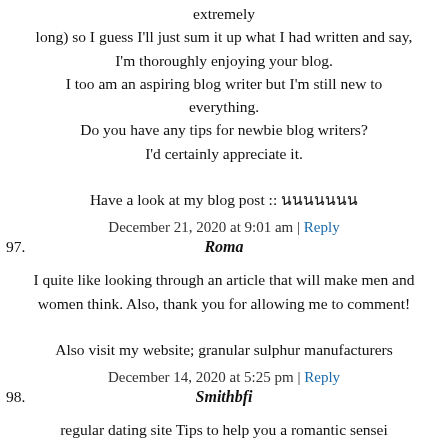extremely
long) so I guess I'll just sum it up what I had written and say, I'm thoroughly enjoying your blog.
I too am an aspiring blog writer but I'm still new to everything.
Do you have any tips for newbie blog writers?
I'd certainly appreciate it.

Have a look at my blog post :: นนนนนนน
December 21, 2020 at 9:01 am | Reply
97.  Roma
I quite like looking through an article that will make men and
women think. Also, thank you for allowing me to comment!

Also visit my website; granular sulphur manufacturers
December 14, 2020 at 5:25 pm | Reply
98.  Smithbfi
regular dating site Tips to help you a romantic sensei

cute rate of those with knowledge and exposures so with lesson, this is also true if you are obtaining warm free dating